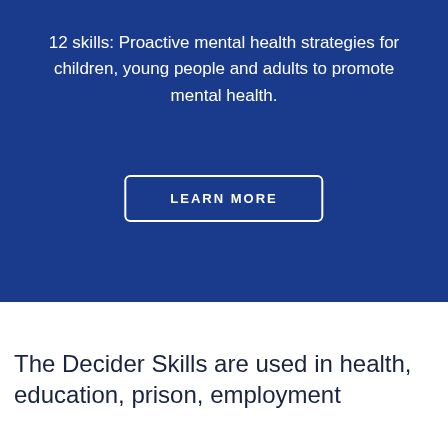12 skills: Proactive mental health strategies for children, young people and adults to promote mental health.
LEARN MORE
The Decider Skills are used in health, education, prison, employment